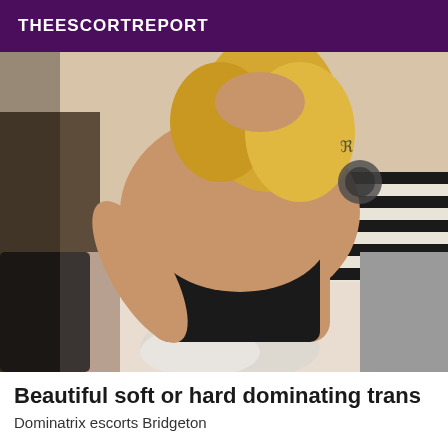THEESCORTREPORT
[Figure (photo): A blonde woman wearing a black corset top, posing on a bed with patterned pillows and a white fluffy item in the foreground. She has tattoos on her shoulder/upper chest area.]
Beautiful soft or hard dominating trans
Dominatrix escorts Bridgeton